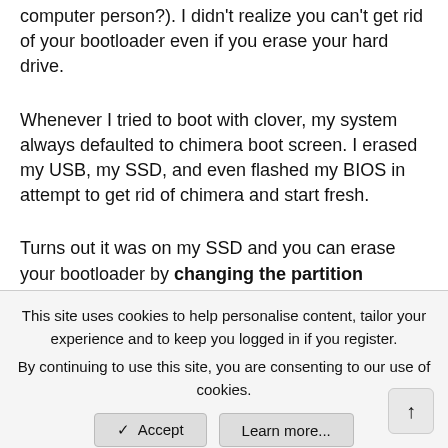computer person?). I didn't realize you can't get rid of your bootloader even if you erase your hard drive.
Whenever I tried to boot with clover, my system always defaulted to chimera boot screen. I erased my USB, my SSD, and even flashed my BIOS in attempt to get rid of chimera and start fresh.
Turns out it was on my SSD and you can erase your bootloader by changing the partition scheme from GUID to Master Boot Record, and then back to GUID in Disk Utility.
IV.
This site uses cookies to help personalise content, tailor your experience and to keep you logged in if you register.
By continuing to use this site, you are consenting to our use of cookies.